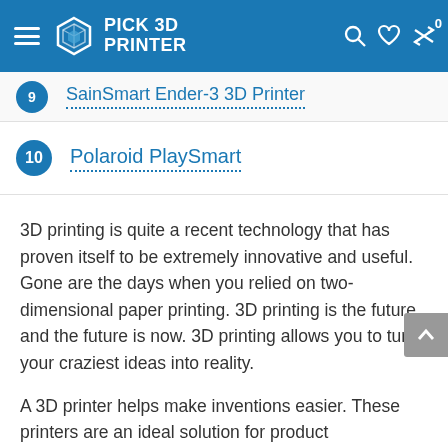PICK 3D PRINTER
9 - SainSmart Ender-3 3D Printer
10 - Polaroid PlaySmart
3D printing is quite a recent technology that has proven itself to be extremely innovative and useful. Gone are the days when you relied on two-dimensional paper printing. 3D printing is the future, and the future is now. 3D printing allows you to turn your craziest ideas into reality.
A 3D printer helps make inventions easier. These printers are an ideal solution for product development. These printers come with many uses.